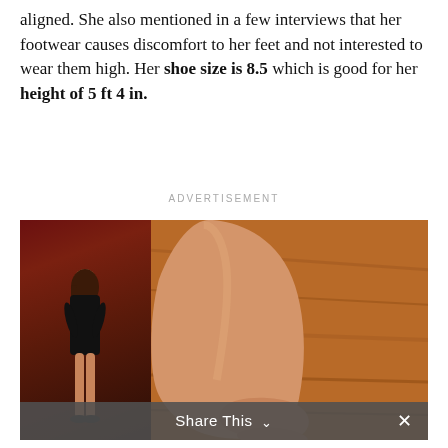aligned. She also mentioned in a few interviews that her footwear causes discomfort to her feet and not interested to wear them high. Her shoe size is 8.5 which is good for her height of 5 ft 4 in.
ADVERTISEMENT
[Figure (photo): Composite image: on the left, a woman in a black dress standing with arms crossed in front of a wooden/red curtain background; on the right, a close-up of bare feet and lower legs on a wooden floor.]
Share This ∨   ×